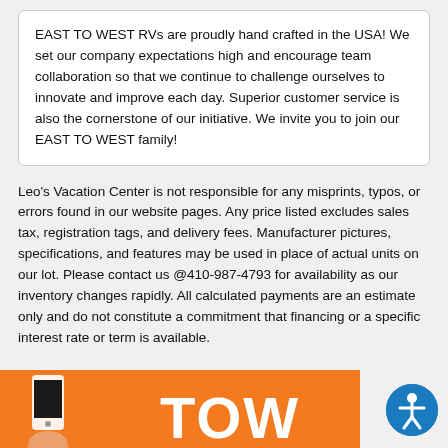EAST TO WEST RVs are proudly hand crafted in the USA! We set our company expectations high and encourage team collaboration so that we continue to challenge ourselves to innovate and improve each day. Superior customer service is also the cornerstone of our initiative. We invite you to join our EAST TO WEST family!
Leo's Vacation Center is not responsible for any misprints, typos, or errors found in our website pages. Any price listed excludes sales tax, registration tags, and delivery fees. Manufacturer pictures, specifications, and features may be used in place of actual units on our lot. Please contact us @410-987-4793 for availability as our inventory changes rapidly. All calculated payments are an estimate only and do not constitute a commitment that financing or a specific interest rate or term is available.
[Figure (illustration): Orange banner with a hand holding a white smartphone on the left and large white bold text 'TOW' on the right]